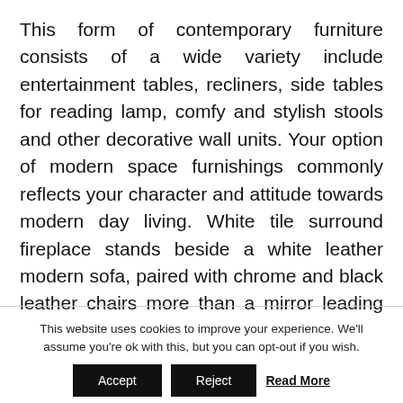This form of contemporary furniture consists of a wide variety include entertainment tables, recliners, side tables for reading lamp, comfy and stylish stools and other decorative wall units. Your option of modern space furnishings commonly reflects your character and attitude towards modern day living. White tile surround fireplace stands beside a white leather modern sofa, paired with chrome and black leather chairs more than a mirror leading coffee table.
This website uses cookies to improve your experience. We'll assume you're ok with this, but you can opt-out if you wish.